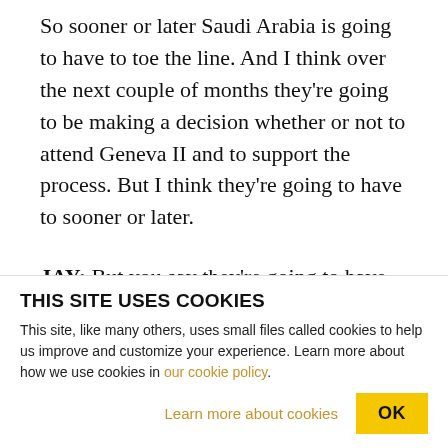So sooner or later Saudi Arabia is going to have to toe the line. And I think over the next couple of months they're going to be making a decision whether or not to attend Geneva II and to support the process. But I think they're going to have to sooner or later.
JAY: But you say they're going to have to, but maybe they don't have to. I mean, they're sitting on billions of dollars. If this is correct that they have direct ties with terrorist networks, they can create a lot of
THIS SITE USES COOKIES
This site, like many others, uses small files called cookies to help us improve and customize your experience. Learn more about how we use cookies in our cookie policy.
Learn more about cookies   OK